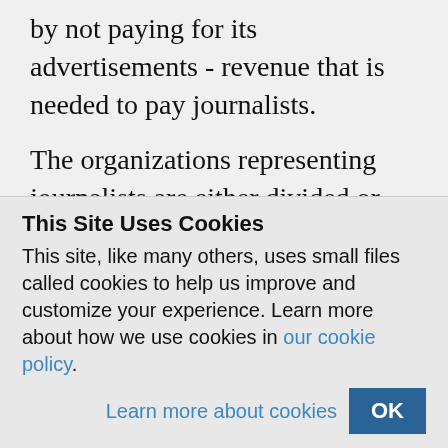by not paying for its advertisements - revenue that is needed to pay journalists.
The organizations representing journalists are either divided or care more about their own welfare than the common good. In this scenario, Asif Butt, president of the Electronic Media Reporter Association (EMRA), is like a blessing. He has been working day and night for unemployed
This Site Uses Cookies
This site, like many others, uses small files called cookies to help us improve and customize your experience. Learn more about how we use cookies in our cookie policy.
Learn more about cookies   OK